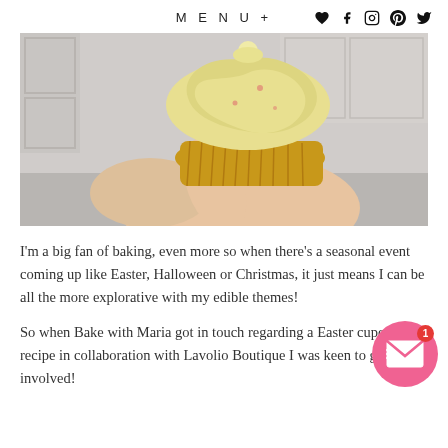MENU+
[Figure (photo): A hand holding a cupcake with yellow/cream frosting swirled on top, in a golden cupcake liner, against a light gray/white background.]
I'm a big fan of baking, even more so when there's a seasonal event coming up like Easter, Halloween or Christmas, it just means I can be all the more explorative with my edible themes!
So when Bake with Maria got in touch regarding a Easter cupcake recipe in collaboration with Lavolio Boutique I was keen to get involved!